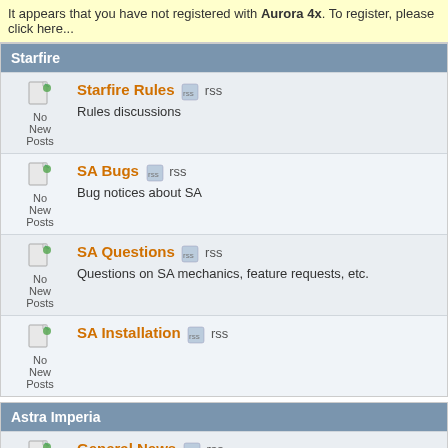It appears that you have not registered with Aurora 4x. To register, please click here...
Starfire
Starfire Rules rss - Rules discussions
SA Bugs rss - Bug notices about SA
SA Questions rss - Questions on SA mechanics, feature requests, etc.
SA Installation rss
Astra Imperia
General News rss - General Astra Imperia news